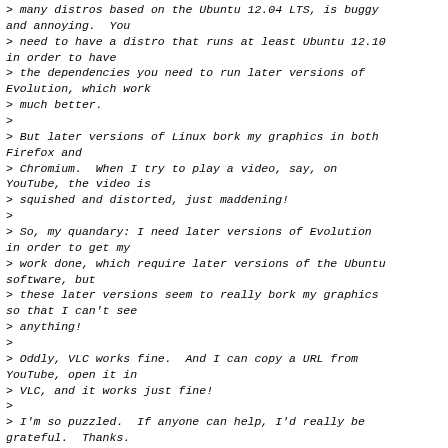> many distros based on the Ubuntu 12.04 LTS, is buggy and annoying.  You
> need to have a distro that runs at least Ubuntu 12.10 in order to have
> the dependencies you need to run later versions of Evolution, which work
> much better.
>
> But later versions of Linux bork my graphics in both Firefox and
> Chromium.  When I try to play a video, say, on YouTube, the video is
> squished and distorted, just maddening!
>
> So, my quandary: I need later versions of Evolution in order to get my
> work done, which require later versions of the Ubuntu software, but
> these later versions seem to really bork my graphics so that I can't see
> anything!
>
> Oddly, VLC works fine.  And I can copy a URL from YouTube, open it in
> VLC, and it works just fine!
>
> I'm so puzzled.  If anyone can help, I'd really be grateful.  Thanks.
>
>
>